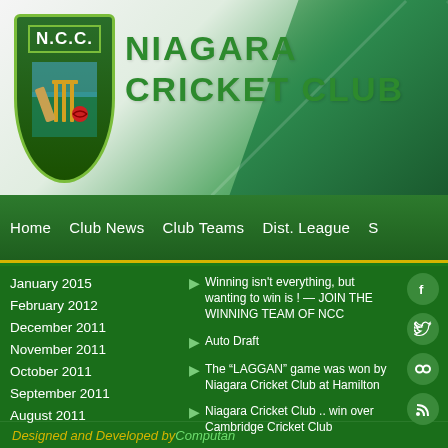[Figure (logo): Niagara Cricket Club logo with NCC shield emblem and cricket imagery]
NIAGARA CRICKET CLUB
Home   Club News   Club Teams   Dist. League   S
January 2015
February 2012
December 2011
November 2011
October 2011
September 2011
August 2011
Winning isn't everything, but wanting to win is ! — JOIN THE WINNING TEAM OF NCC
Auto Draft
The “LAGGAN” game was won by Niagara Cricket Club at Hamilton
Niagara Cricket Club .. win over Cambridge Cricket Club
Designed and Developed by Computan